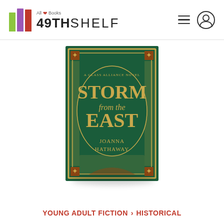49th Shelf — All Books (Canadian)
[Figure (photo): Book cover of 'Storm from the East' by Joanna Hathaway. A Glass Alliance Novel. Dark green background with ornate gold border. Title in large gold serif letters: STORM from the East. Author name at bottom: JOANNA HATHAWAY.]
YOUNG ADULT FICTION > HISTORICAL